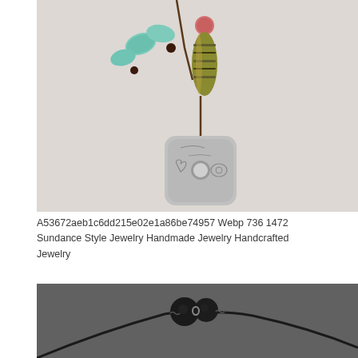[Figure (photo): A handmade necklace with turquoise beads, a dark striped cylindrical bead, a pink bead, and a square silver/pewter pendant with embossed heart and swirl designs, on a brown cord. Light gray background.]
A53672aeb1c6dd215e02e1a86be74957 Webp 736 1472 Sundance Style Jewelry Handmade Jewelry Handcrafted Jewelry
[Figure (photo): A minimalist necklace with two matte black round beads and a small silver ring accent, on a thin black cord, photographed against a dark gray background.]